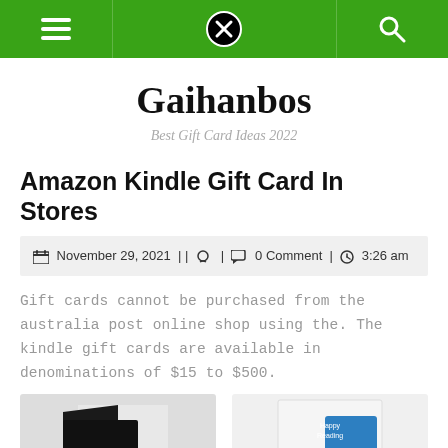Navigation bar with menu, close, and search icons
Gaihanbos
Best Gift Card Ideas 2022
Amazon Kindle Gift Card In Stores
November 29, 2021 | | 🔒 | 💬 0 Comment | 🕐 3:26 am
Gift cards cannot be purchased from the australia post online shop using the. The kindle gift cards are available in denominations of $15 to $500.
[Figure (photo): Two product images of Amazon Kindle gift cards partially visible at the bottom of the page]